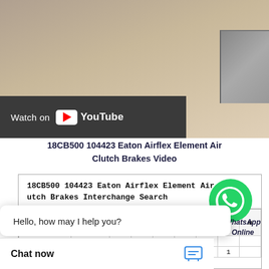[Figure (screenshot): YouTube video thumbnail showing a hand near a laptop on a beige surface, with a dark bar at the bottom showing 'Watch on YouTube' with the YouTube logo]
18CB500 104423 Eaton Airflex Element Air Clutch Brakes Video
[Figure (logo): WhatsApp green circle icon with phone logo, labeled 'WhatsApp Online']
| No. | Bra... | S | U | H | V | e | Z | m |
| --- | --- | --- | --- | --- | --- | --- | --- | --- |
| ZR |  |  |  |  |  |  |  |  |
|  |  |  |  |  | 3 |  | 1 |  |
18CB500 104423 Eaton Airflex Element Air Clutch Brakes Interchange Search
Hello, how may I help you?
Chat now